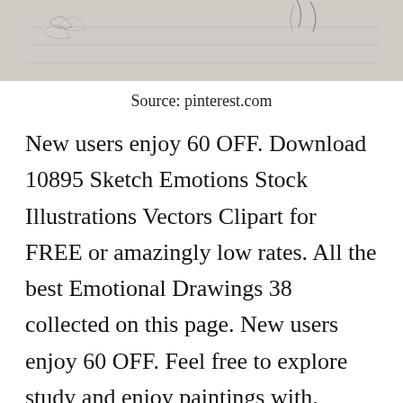[Figure (illustration): A pencil sketch drawing showing faint lines and marks on a light gray background, partially visible at the top of the page. Appears to be an emotional or figure sketch.]
Source: pinterest.com
New users enjoy 60 OFF. Download 10895 Sketch Emotions Stock Illustrations Vectors Clipart for FREE or amazingly low rates. All the best Emotional Drawings 38 collected on this page. New users enjoy 60 OFF. Feel free to explore study and enjoy paintings with. Crying Sketch Crying Girl Emotional Sketch Aman Nagar Sketch